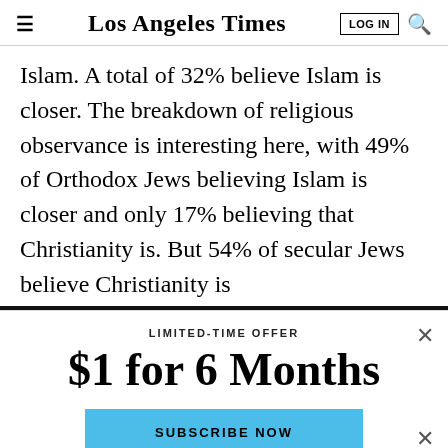Los Angeles Times
Islam. A total of 32% believe Islam is closer. The breakdown of religious observance is interesting here, with 49% of Orthodox Jews believing Islam is closer and only 17% believing that Christianity is. But 54% of secular Jews believe Christianity is
LIMITED-TIME OFFER
$1 for 6 Months
SUBSCRIBE NOW
By continuing to use our site, you agree to our Terms of Service and Privacy Policy. You can learn more about how we use cookies by reviewing our Privacy Policy. Close